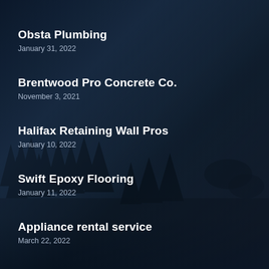Obsta Plumbing
January 31, 2022
Brentwood Pro Concrete Co.
November 3, 2021
Halifax Retaining Wall Pros
January 10, 2022
Swift Epoxy Flooring
January 11, 2022
Appliance rental service
March 22, 2022